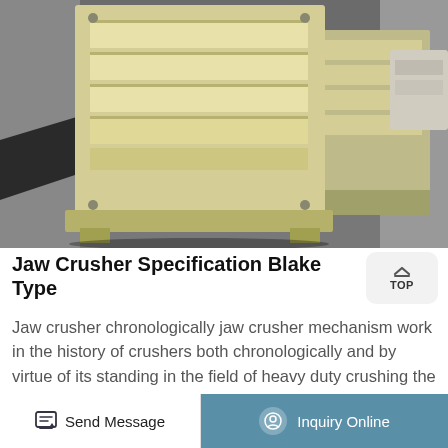[Figure (photo): A yellow/cream colored Blake type jaw crusher machine sitting on a dark concrete floor in an industrial warehouse setting. The front face of the crusher shows horizontal ribbed plates. Another unit is partially visible in the background to the right.]
Jaw Crusher Specification Blake Type
Jaw crusher chronologically jaw crusher mechanism work in the history of crushers both chronologically and by virtue of its standing in the field of heavy duty crushing the blake jaw crusher stands first in the list all of the large heavy duty primary crushers of the jaw type are built around the blake principle which for simplicity and baste...